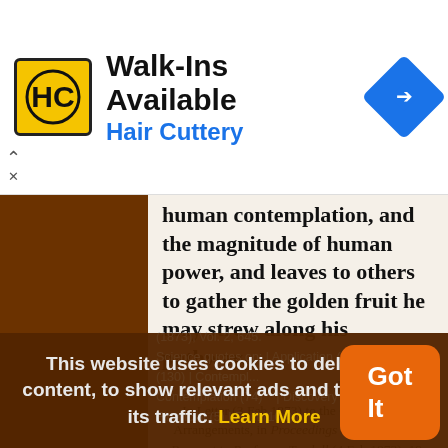[Figure (infographic): Hair Cuttery advertisement banner with yellow/black logo, text 'Walk-Ins Available' and 'Hair Cuttery', and a blue navigation arrow icon]
human contemplation, and the magnitude of human power, and leaves to others to gather the golden fruit he may strew along his pathway.
— Joseph Henry
In Letter (3 Feb 1873) to the Committee of Arrangements, in Proceedings of the Farewell Banquet to Professor Tyndall (4 Feb 1873), 19. Reprinted as 'On the Importance of the Cultivation of Science', The Popular Science Monthly (1873), Vol. 2, 645.
Science quotes on: | Application (2...) | ...iousness (130) | Contemplation (74) | Discovery (818) | Financial (5) | Fruit (104)
This website uses cookies to deliver its content, to show relevant ads and to analyze its traffic. Learn More